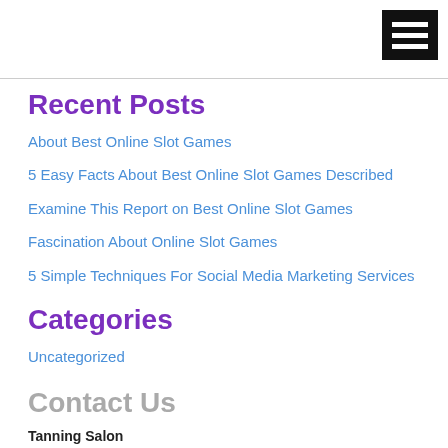[Figure (other): Hamburger menu icon — black rectangle with three white horizontal bars]
Recent Posts
About Best Online Slot Games
5 Easy Facts About Best Online Slot Games Described
Examine This Report on Best Online Slot Games
Fascination About Online Slot Games
5 Simple Techniques For Social Media Marketing Services
Categories
Uncategorized
Contact Us
Tanning Salon
1064 Brookview Drive, Evadale, TX , 77615
Call Us: (561) 123-1234